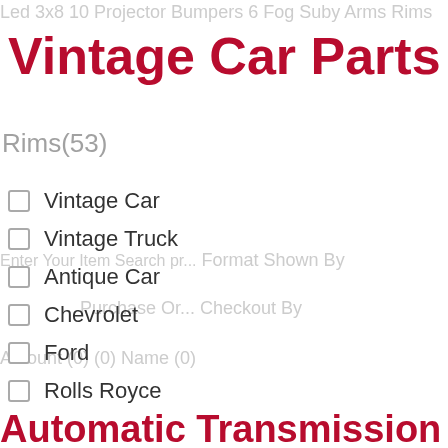Vintage Car Parts
Rims(53)
Vintage Car
Vintage Truck
Antique Car
Chevrolet
Ford
Rolls Royce
-or Jeep Wrangler Jk 2007 -2017. For Chevrolet. For Cadillac. Low Price Sales, Limited Quantity ! Good Communication Is Helpful For Both Of Us To Resolve Any Problems And Issues. Item Specifications.
Automatic Transmission Classic Style